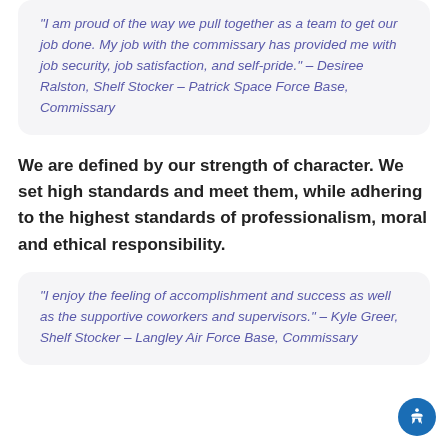“I am proud of the way we pull together as a team to get our job done. My job with the commissary has provided me with job security, job satisfaction, and self-pride.” – Desiree Ralston, Shelf Stocker – Patrick Space Force Base, Commissary
We are defined by our strength of character. We set high standards and meet them, while adhering to the highest standards of professionalism, moral and ethical responsibility.
“I enjoy the feeling of accomplishment and success as well as the supportive coworkers and supervisors.” – Kyle Greer, Shelf Stocker – Langley Air Force Base, Commissary